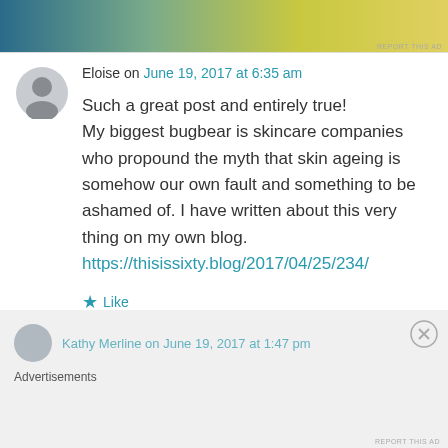[Figure (photo): Advertisement banner image with gradient colors (blue, green, yellow)]
REPORT THIS AD
Eloise on June 19, 2017 at 6:35 am
Such a great post and entirely true! My biggest bugbear is skincare companies who propound the myth that skin ageing is somehow our own fault and something to be ashamed of. I have written about this very thing on my own blog. https://thisissixty.blog/2017/04/25/234/
Like
Kathy Merline on June 19, 2017 at 1:47 pm
Advertisements
REPORT THIS AD